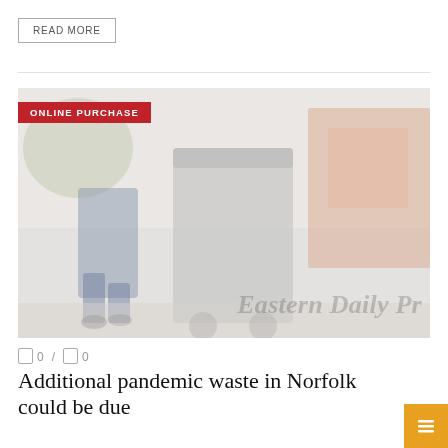READ MORE
[Figure (photo): Washed-out photo of a waste collector wheeling a grey wheelie bin, with a rubbish collection truck in the background. Watermark text reads 'Eastern Daily Pr'. Red badge overlay reads 'ONLINE PURCHASE'.]
0 / 0
Additional pandemic waste in Norfolk could be due